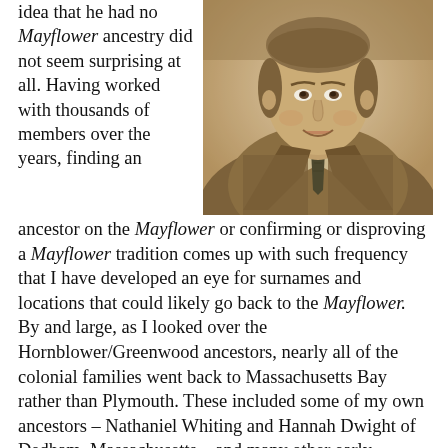idea that he had no Mayflower ancestry did not seem surprising at all. Having worked with thousands of members over the years, finding an
[Figure (photo): Sepia-toned portrait photograph of a young man in a suit and tie, smiling at the camera]
ancestor on the Mayflower or confirming or disproving a Mayflower tradition comes up with such frequency that I have developed an eye for surnames and locations that could likely go back to the Mayflower. By and large, as I looked over the Hornblower/Greenwood ancestors, nearly all of the colonial families went back to Massachusetts Bay rather than Plymouth. These included some of my own ancestors – Nathaniel Whiting and Hannah Dwight of Dedham, Massachusetts – and many other early families of Dedham, Watertown, and Concord, all areas that I generally do not consider 'Mayflower country.'